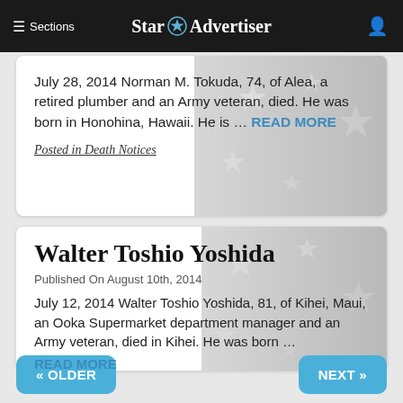≡ Sections  Star Advertiser
July 28, 2014 Norman M. Tokuda, 74, of Alea, a retired plumber and an Army veteran, died. He was born in Honohina, Hawaii. He is ... READ MORE
Posted in Death Notices
Walter Toshio Yoshida
Published On August 10th, 2014
July 12, 2014 Walter Toshio Yoshida, 81, of Kihei, Maui, an Ooka Supermarket department manager and an Army veteran, died in Kihei. He was born ... READ MORE
Posted in Death Notices
« OLDER
NEXT »